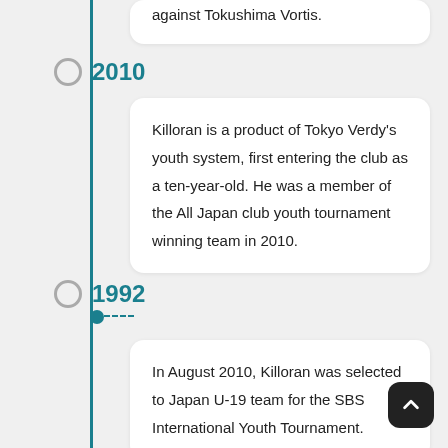against Tokushima Vortis.
2010
Killoran is a product of Tokyo Verdy's youth system, first entering the club as a ten-year-old. He was a member of the All Japan club youth tournament winning team in 2010.
In August 2010, Killoran was selected to Japan U-19 team for the SBS International Youth Tournament.
1992
Colin Killoran (キロラン コリン , Kirōran Korin, born April 7, 1992) is a former Japanese football player